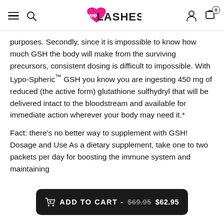We Love Lashes — navigation header with hamburger menu, search, logo, user account, and cart (0 items)
purposes. Secondly, since it is impossible to know how much GSH the body will make from the surviving precursors, consistent dosing is difficult to impossible. With Lypo-Spheric™ GSH you know you are ingesting 450 mg of reduced (the active form) glutathione sulfhydryl that will be delivered intact to the bloodstream and available for immediate action wherever your body may need it.*
Fact: there's no better way to supplement with GSH! Dosage and Use As a dietary supplement, take one to two packets per day for boosting the immune system and maintaining
ADD TO CART - $69.95 $62.95